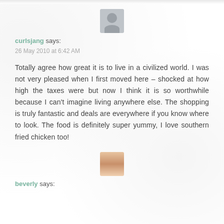[Figure (photo): Gray placeholder avatar icon for user curlsjang]
curlsjang says:
26 May 2010 at 6:42 AM
Totally agree how great it is to live in a civilized world. I was not very pleased when I first moved here – shocked at how high the taxes were but now I think it is so worthwhile because I can't imagine living anywhere else. The shopping is truly fantastic and deals are everywhere if you know where to look. The food is definitely super yummy, I love southern fried chicken too!
[Figure (photo): Small avatar photo of user Beverly, a woman with long hair]
beverly says: